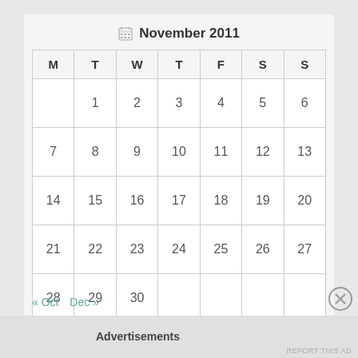November 2011
| M | T | W | T | F | S | S |
| --- | --- | --- | --- | --- | --- | --- |
|  | 1 | 2 | 3 | 4 | 5 | 6 |
| 7 | 8 | 9 | 10 | 11 | 12 | 13 |
| 14 | 15 | 16 | 17 | 18 | 19 | 20 |
| 21 | 22 | 23 | 24 | 25 | 26 | 27 |
| 28 | 29 | 30 |  |  |  |  |
« Oct   Dec »
Advertisements